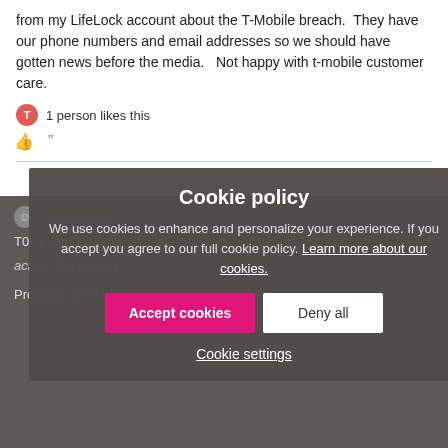from my LifeLock account about the T-Mobile breach. They have our phone numbers and email addresses so we should have gotten news before the media. Not happy with t-mobile customer care.
1 person likes this
drnewcomb
T0k FlIolyOu: WelD... [partially visible italic text] across the country fr...
Probably unrel... not supposed to have been compromised.
[Figure (screenshot): Cookie policy modal overlay on a dark background with title 'Cookie policy', body text about cookie usage, a link 'Learn more about our cookies.', Accept cookies button (pink), Deny all button (white), and Cookie settings link.]